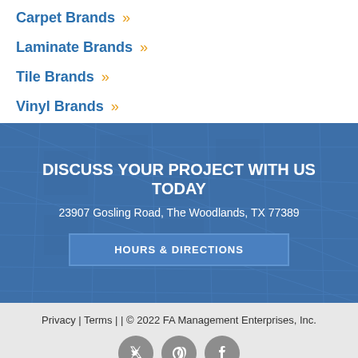Carpet Brands »
Laminate Brands »
Tile Brands »
Vinyl Brands »
[Figure (map): Blue map background banner with street grid pattern]
DISCUSS YOUR PROJECT WITH US TODAY
23907 Gosling Road, The Woodlands, TX 77389
HOURS & DIRECTIONS
Privacy | Terms | | © 2022 FA Management Enterprises, Inc.